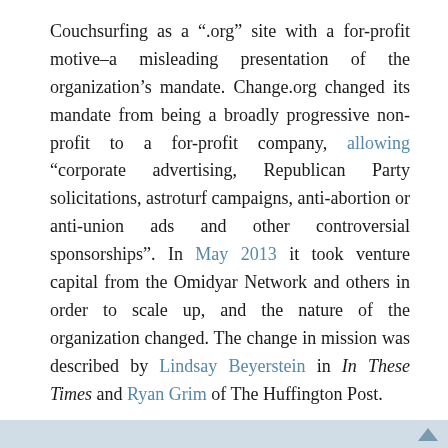Couchsurfing as a “.org” site with a for-profit motive–a misleading presentation of the organization’s mandate. Change.org changed its mandate from being a broadly progressive non-profit to a for-profit company, allowing “corporate advertising, Republican Party solicitations, astroturf campaigns, anti-abortion or anti-union ads and other controversial sponsorships”. In May 2013 it took venture capital from the Omidyar Network and others in order to scale up, and the nature of the organization changed. The change in mission was described by Lindsay Beyerstein in In These Times and Ryan Grim of The Huffington Post.
The Omidyar/Change.org press release uses the standard language of social entrepreneurs: blandly inspirational and content-free.